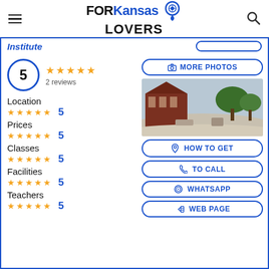FOR Kansas LOVERS
Institute
5 — 2 reviews
Location — 5 stars — 5
Prices — 5 stars — 5
Classes — 5 stars — 5
Facilities — 5 stars — 5
Teachers — 5 stars — 5
[Figure (photo): 360-degree panoramic exterior photo of a red-brick building with trees]
MORE PHOTOS
HOW TO GET
TO CALL
WHATSAPP
WEB PAGE